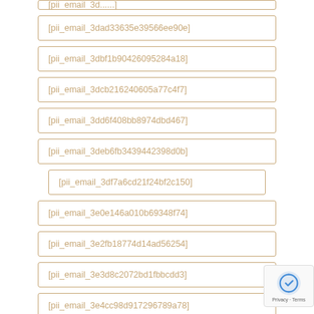[pii_email_3dad33635e39566ee90e]
[pii_email_3dbf1b904260952 84a18]
[pii_email_3dcb216240605a77c4f7]
[pii_email_3dd6f408bb8974dbd467]
[pii_email_3deb6fb3439442398d0b]
[pii_email_3df7a6cd21f24bf2c150]
[pii_email_3e0e146a010b69348f74]
[pii_email_3e2fb18774d14ad56254]
[pii_email_3e3d8c2072bd1fbbcdd3]
[pii_email_3e4cc98d917296789a78]
[pii_email_3e699c1785d87151054e]